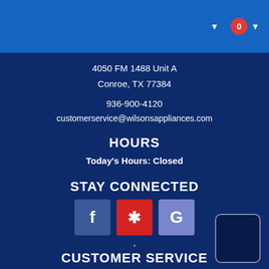Navigation bar with cart icon showing 0
4050 FM 1488 Unit A
Conroe, TX 77384
936-900-4120
customerservice@wilsonsappliances.com
HOURS
Today's Hours: Closed
STAY CONNECTED
[Figure (infographic): Three social media icons: Facebook (blue), Yelp (red), Google (purple/blue)]
CUSTOMER SERVICE
Contact Us
My Account